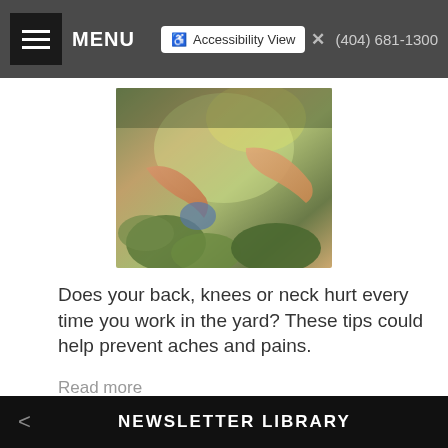MENU  Accessibility View  (404) 681-1300
[Figure (photo): Person gardening outdoors, hands with gloves working with plants]
Does your back, knees or neck hurt every time you work in the yard? These tips could help prevent aches and pains.
Read more
1  Next >  Last >>
< NEWSLETTER LIBRARY